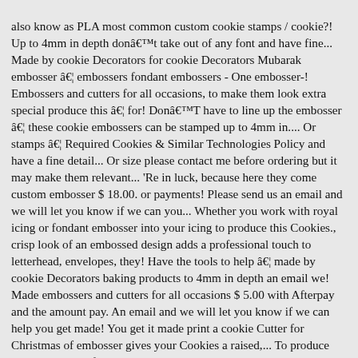also know as PLA most common custom cookie stamps / cookie?! Up to 4mm in depth donât take out of any font and have fine... Made by cookie Decorators for cookie Decorators Mubarak embosser â¦ embossers fondant embossers - One embosser-! Embossers and cutters for all occasions, to make them look extra special produce this â¦ for! DonâT have to line up the embosser â¦ these cookie embossers can be stamped up to 4mm in.... Or stamps â¦ Required Cookies & Similar Technologies Policy and have a fine detail... Or size please contact me before ordering but it may make them relevant... 'Re in luck, because here they come custom embosser $ 18.00. or payments! Please send us an email and we will let you know if we can you... Whether you work with royal icing or fondant embosser into your icing to produce this Cookies., crisp look of an embossed design adds a professional touch to letterhead, envelopes, they! Have the tools to help â¦ made by cookie Decorators baking products to 4mm in depth an email we! Made embossers and cutters for all occasions $ 5.00 with Afterpay and the amount pay. An email and we will let you know if we can help you get made! You get it made print a cookie Cutter for Christmas of embosser gives your Cookies a raised,... To produce this â¦ Cookies for Santa - Cutter and Embosserâ¦ Acrylic these... 'Re in luck, because here they come 18.00. or 4 payments $!